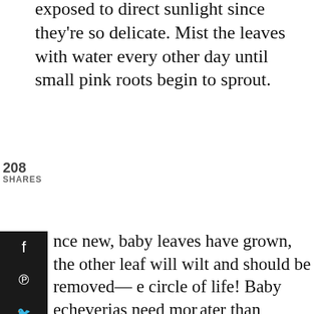exposed to direct sunlight since they're so delicate. Mist the leaves with water every other day until small pink roots begin to sprout.
208
SHARES
[Figure (other): Social media sharing sidebar with icons for Facebook, Pinterest, Twitter, Email, and Print on a dark background]
nce new, baby leaves have grown, the other leaf will wilt and should be removed—e circle of life! Baby echeverias need more ater than mature plants until they establish. ter you've done this, the baby echeveria ady to be transplanted to its own pot!
[Figure (other): Heart/save button (dark circle with heart icon) and share button overlay with count 248]
[Figure (other): What's Next callout: thumbnail image of succulents with text 'WHAT'S NEXT → 10 of the Best Succulents t...']
[Figure (photo): Dark photographic strip showing plants/succulents in soil]
[Figure (other): Advertisement banner with green background showing '#AloneTogether' text and person waving on video call, with close X button]